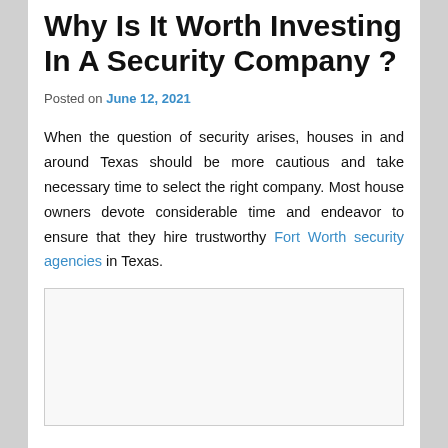Why Is It Worth Investing In A Security Company ?
Posted on June 12, 2021
When the question of security arises, houses in and around Texas should be more cautious and take necessary time to select the right company. Most house owners devote considerable time and endeavor to ensure that they hire trustworthy Fort Worth security agencies in Texas.
[Figure (other): Blank placeholder image box with light border]